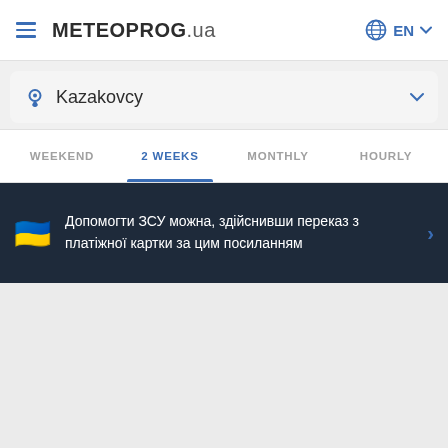METEOPROG.ua  EN
Kazakovcy
WEEKEND  2 WEEKS  MONTHLY  HOURLY
Допомогти ЗСУ можна, здійснивши переказ з платіжної картки за цим посиланням